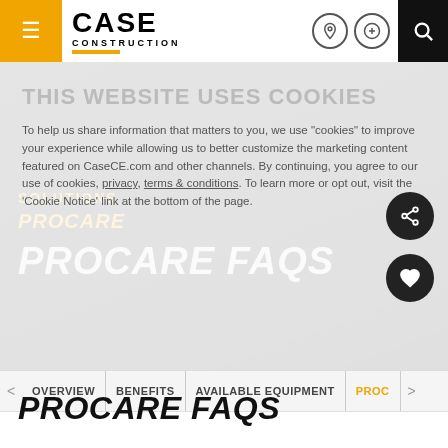[Figure (screenshot): CASE Construction navigation bar with hamburger menu, logo, location pin icon, add icon, and search icon on dark background]
THIS WEBSITE USES COOKIES
To help us share information that matters to you, we use "cookies" to improve your experience while allowing us to better customize the marketing content featured on CaseCE.com and other channels. By continuing, you agree to our use of cookies, privacy, terms & conditions. To learn more or opt out, visit the 'Cookie Notice' link at the bottom of the page.
SOLUTIONS
PROCARE
PROCARE FAQS
OVERVIEW | BENEFITS | AVAILABLE EQUIPMENT | PROC
PROCARE FAQS